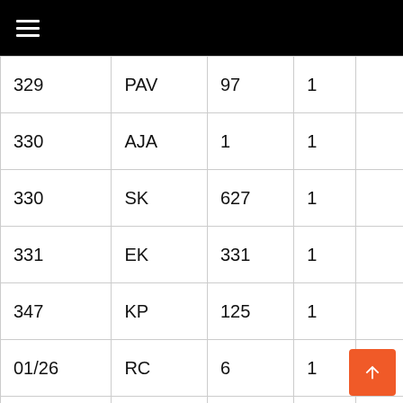≡
| 329 | PAV | 97 | 1 |  |
| 330 | AJA | 1 | 1 |  |
| 330 | SK | 627 | 1 |  |
| 331 | EK | 331 | 1 |  |
| 347 | KP | 125 | 1 |  |
| 01/26 | RC | 6 | 1 |  |
| 01/26 | AT | 19 | 1 |  |
| 16/14 | ZZ | 22 | 1 |  |
| 178/26 | RC | 6 | 1 |  |